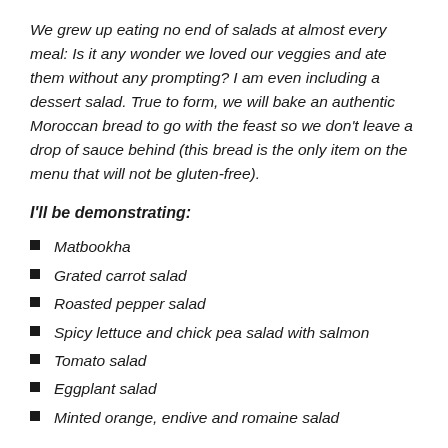We grew up eating no end of salads at almost every meal: Is it any wonder we loved our veggies and ate them without any prompting? I am even including a dessert salad. True to form, we will bake an authentic Moroccan bread to go with the feast so we don't leave a drop of sauce behind (this bread is the only item on the menu that will not be gluten-free).
I'll be demonstrating:
Matbookha
Grated carrot salad
Roasted pepper salad
Spicy lettuce and chick pea salad with salmon
Tomato salad
Eggplant salad
Minted orange, endive and romaine salad